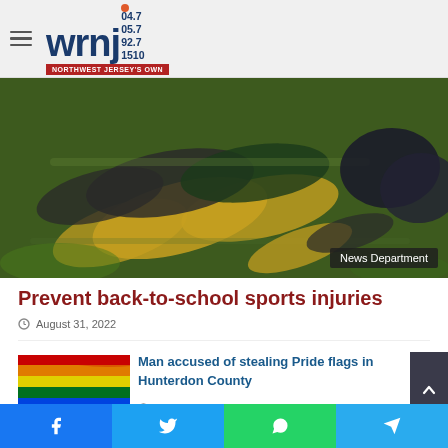WRNJ 104.7 105.7 92.7 1510 — Northwest Jersey's Own
[Figure (photo): Blurred motion photo of football players in yellow and black uniforms running on a green field, with a 'News Department' badge overlay in the bottom right corner.]
Prevent back-to-school sports injuries
August 31, 2022
[Figure (photo): Photo of a rainbow Pride flag being waved outdoors.]
Man accused of stealing Pride flags in Hunterdon County
August 31, 2022